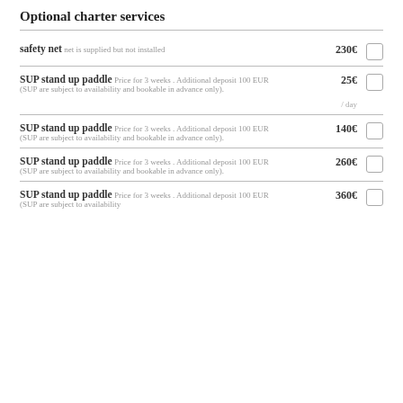Optional charter services
safety net - net is supplied but not installed - 230€
SUP stand up paddle - Price for 3 weeks . Additional deposit 100 EUR (SUP are subject to availability and bookable in advance only). - 25€ / day
SUP stand up paddle - Price for 3 weeks . Additional deposit 100 EUR (SUP are subject to availability and bookable in advance only). - 140€
SUP stand up paddle - Price for 3 weeks . Additional deposit 100 EUR (SUP are subject to availability and bookable in advance only). - 260€
SUP stand up paddle - Price for 3 weeks . Additional deposit 100 EUR (SUP are subject to availability and bookable in advance only). - 360€